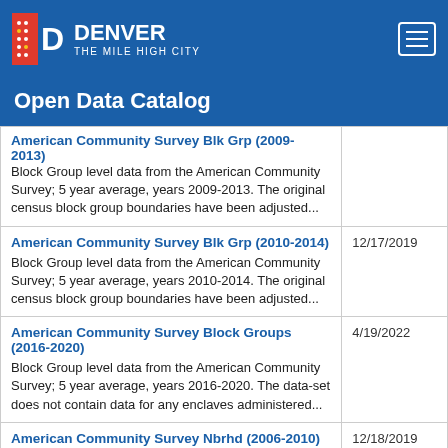DENVER THE MILE HIGH CITY — Open Data Catalog
Open Data Catalog
| Dataset | Date |
| --- | --- |
| American Community Survey Blk Grp (2009-2013)
Block Group level data from the American Community Survey; 5 year average, years 2009-2013. The original census block group boundaries have been adjusted... |  |
| American Community Survey Blk Grp (2010-2014)
Block Group level data from the American Community Survey; 5 year average, years 2010-2014. The original census block group boundaries have been adjusted... | 12/17/2019 |
| American Community Survey Block Groups (2016-2020)
Block Group level data from the American Community Survey; 5 year average, years 2016-2020. The data-set does not contain data for any enclaves administered... | 4/19/2022 |
| American Community Survey Nbrhd (2006-2010)
Neighborhood level data from the derived from the | 12/18/2019 |